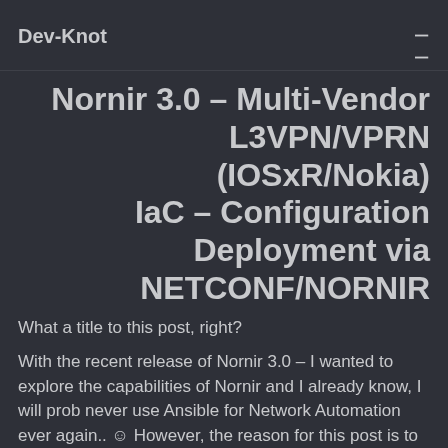Dev-Knot
Nornir 3.0 – Multi-Vendor L3VPN/VPRN (IOSxR/Nokia) IaC – Configuration Deployment via NETCONF/NORNIR
What a title to this post, right?
With the recent release of Nornir 3.0 – I wanted to explore the capabilities of Nornir and I already know, I will prob never use Ansible for Network Automation ever again.. ☺ However, the reason for this post is to give a high level overview of Nornir 3.0 and provide a guide to convert 2.x